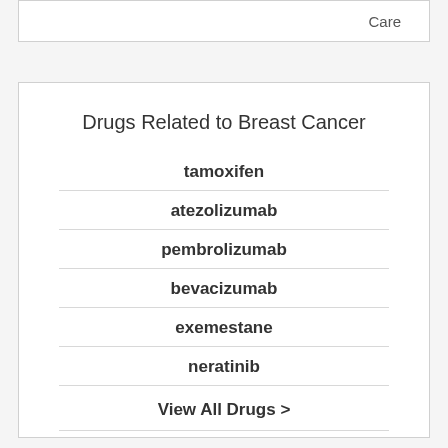Care
Drugs Related to Breast Cancer
tamoxifen
atezolizumab
pembrolizumab
bevacizumab
exemestane
neratinib
View All Drugs >